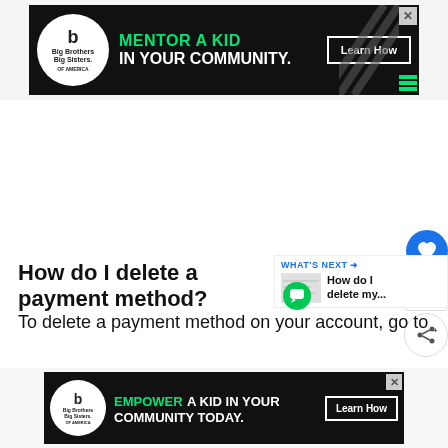[Figure (other): Big Brothers Big Sisters advertisement banner: 'MENTOR A KID IN YOUR COMMUNITY.' with Learn How button]
[Figure (other): Social share floating buttons: heart/like button (blue), number 1, and share button]
[Figure (other): WHAT'S NEXT panel showing 'How do I delete my...' with chat icon thumbnail]
How do I delete a payment method?
To delete a payment method on your account, go to
[Figure (other): Big Brothers Big Sisters advertisement banner: 'EMPOWER A KID IN YOUR COMMUNITY TODAY.' with Learn How button]